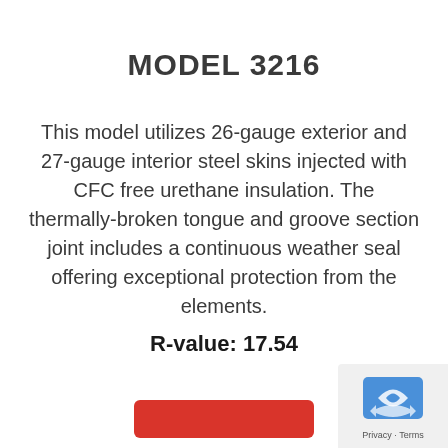MODEL 3216
This model utilizes 26-gauge exterior and 27-gauge interior steel skins injected with CFC free urethane insulation. The thermally-broken tongue and groove section joint includes a continuous weather seal offering exceptional protection from the elements.
R-value: 17.54